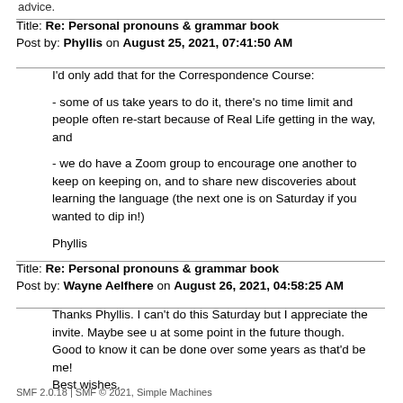advice.
Title: Re: Personal pronouns & grammar book
Post by: Phyllis on August 25, 2021, 07:41:50 AM
I'd only add that for the Correspondence Course:

 - some of us take years to do it, there's no time limit and people often re-start because of Real Life getting in the way, and

 - we do have a Zoom group to encourage one another to keep on keeping on, and to share new discoveries about learning the language (the next one is on Saturday if you wanted to dip in!)

Phyllis
Title: Re: Personal pronouns & grammar book
Post by: Wayne Aelfhere on August 26, 2021, 04:58:25 AM
Thanks Phyllis. I can't do this Saturday but I appreciate the invite. Maybe see u at some point in the future though.
Good to know it can be done over some years as that'd be me!
Best wishes.
SMF 2.0.18 | SMF © 2021, Simple Machines